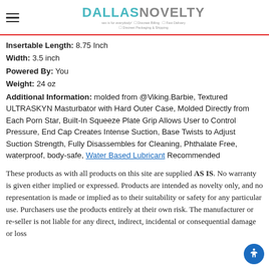Dallas Novelty - sex is for everybody! - Discreet Billing, Fast Delivery, Discreet Packaging & Shipping
Insertable Length: 8.75 Inch
Width: 3.5 inch
Powered By: You
Weight: 24 oz
Additional Information: molded from @Viking.Barbie, Textured ULTRASKYN Masturbator with Hard Outer Case, Molded Directly from Each Porn Star, Built-In Squeeze Plate Grip Allows User to Control Pressure, End Cap Creates Intense Suction, Base Twists to Adjust Suction Strength, Fully Disassembles for Cleaning, Phthalate Free, waterproof, body-safe, Water Based Lubricant Recommended
These products as with all products on this site are supplied AS IS. No warranty is given either implied or expressed. Products are intended as novelty only, and no representation is made or implied as to their suitability or safety for any particular use. Purchasers use the products entirely at their own risk. The manufacturer or re-seller is not liable for any direct, indirect, incidental or consequential damage or loss